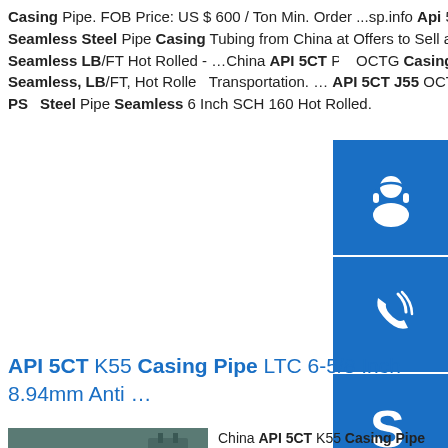Casing Pipe. FOB Price: US $ 600 / Ton Min. Order ...sp.info Api 5l Seamless Steel Pipe For Casing And Tubing ...Product: Api 5l Seamless Steel Pipe Casing Tubing from China at Offers to Sell and Export Date 27 Apr, 2020 9:11 amsp.info API 5CT P110 OCTG Seamless LB/FT Hot Rolled - ...China API 5CT P... OCTG Casing Manufacturer Derbo Provides API 5... P110 OCTG Casing, Seamless, LB/FT, Hot Rolled Transportation. ... API 5CT J55 OCTG Casing Pipe 5/8 Inch, Weight 53.5 Length R3. ... API 5L X52 PS Steel Pipe Seamless 6 Inch SCH 160 Hot Rolled.
[Figure (infographic): Three blue sidebar buttons: headset/customer service icon, phone/call icon, Skype icon]
API 5CT K55 Casing Pipe LTC 6-5/8 Inch 8.94mm Anti ...
[Figure (photo): Photo of stacked steel sheets/plates in a warehouse or factory setting]
China API 5CT K55 Casing Pipe Manufacturer Offers API 5CT K55 Casing Pipe, OCTG LTC (Long Thread Coupled) Casing Pipe, 6-5/8